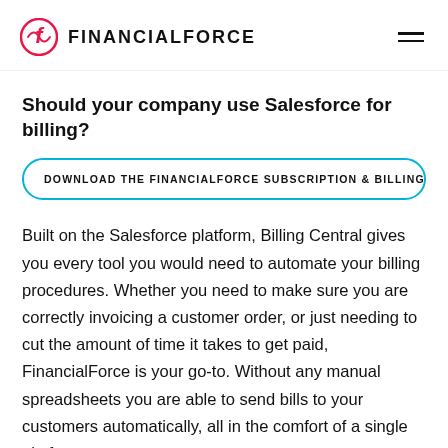FINANCIALFORCE
Should your company use Salesforce for billing?
DOWNLOAD THE FINANCIALFORCE SUBSCRIPTION & BILLING
Built on the Salesforce platform, Billing Central gives you every tool you would need to automate your billing procedures. Whether you need to make sure you are correctly invoicing a customer order, or just needing to cut the amount of time it takes to get paid, FinancialForce is your go-to. Without any manual spreadsheets you are able to send bills to your customers automatically, all in the comfort of a single platform.